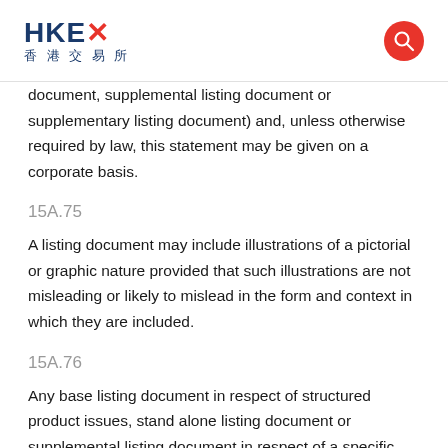HKEX 香港交易所
document, supplemental listing document or supplementary listing document) and, unless otherwise required by law, this statement may be given on a corporate basis.
15A.75
A listing document may include illustrations of a pictorial or graphic nature provided that such illustrations are not misleading or likely to mislead in the form and context in which they are included.
15A.76
Any base listing document in respect of structured product issues, stand alone listing document or supplemental listing document in respect of a specific structured product, that prospectus must be registered under the Companies (Winding